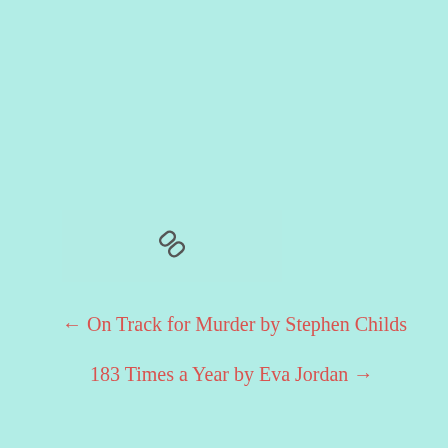[Figure (other): A chain link icon inside a light teal/mint colored rectangular box]
← On Track for Murder by Stephen Childs
183 Times a Year by Eva Jordan →